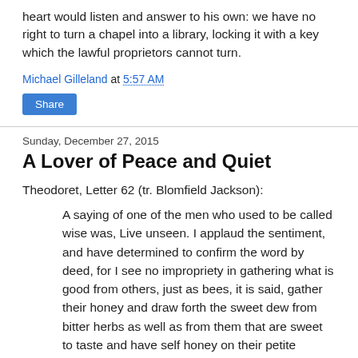heart would listen and answer to his own: we have no right to turn a chapel into a library, locking it with a key which the lawful proprietors cannot turn.
Michael Gilleland at 5:57 AM
Share
Sunday, December 27, 2015
A Lover of Peace and Quiet
Theodoret, Letter 62 (tr. Blomfield Jackson):
A saying of one of the men who used to be called wise was, Live unseen. I applaud the sentiment, and have determined to confirm the word by deed, for I see no impropriety in gathering what is good from others, just as bees, it is said, gather their honey and draw forth the sweet dew from bitter herbs as well as from them that are sweet to taste and have self honey on their petite